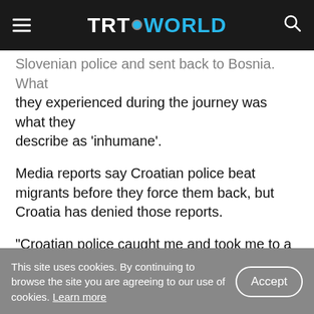TRT WORLD
Slovenian police and sent back to Bosnia. What they experienced during the journey was what they describe as 'inhumane'.
Media reports say Croatian police beat migrants before they force them back, but Croatia has denied those reports.
“Croatian police caught me and took me to a mountain by car, and then they said ‘get out of the car’. They took my mobile phone and all my money. I was under detention from eight in the morning to
This site uses cookies. By continuing to browse the site you are agreeing to our use of cookies. Learn more